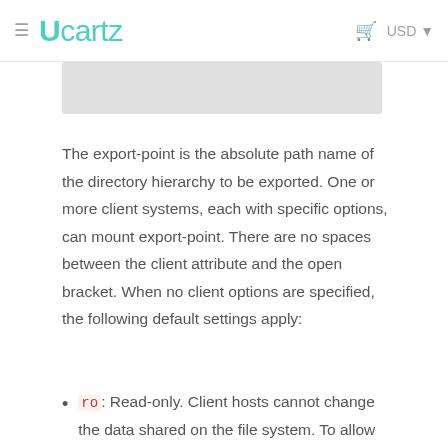≡  Ucartz   🛒  USD ▾
[Figure (other): Gray banner image placeholder at top of content area]
The export-point is the absolute path name of the directory hierarchy to be exported. One or more client systems, each with specific options, can mount export-point. There are no spaces between the client attribute and the open bracket. When no client options are specified, the following default settings apply:
ro: Read-only. Client hosts cannot change the data shared on the file system. To allow client